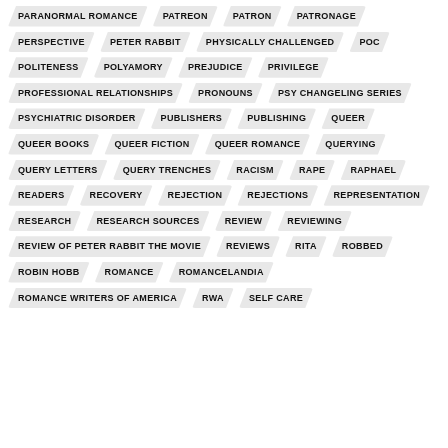PARANORMAL ROMANCE
PATREON
PATRON
PATRONAGE
PERSPECTIVE
PETER RABBIT
PHYSICALLY CHALLENGED
POC
POLITENESS
POLYAMORY
PREJUDICE
PRIVILEGE
PROFESSIONAL RELATIONSHIPS
PRONOUNS
PSY CHANGELING SERIES
PSYCHIATRIC DISORDER
PUBLISHERS
PUBLISHING
QUEER
QUEER BOOKS
QUEER FICTION
QUEER ROMANCE
QUERYING
QUERY LETTERS
QUERY TRENCHES
RACISM
RAPE
RAPHAEL
READERS
RECOVERY
REJECTION
REJECTIONS
REPRESENTATION
RESEARCH
RESEARCH SOURCES
REVIEW
REVIEWING
REVIEW OF PETER RABBIT THE MOVIE
REVIEWS
RITA
ROBBED
ROBIN HOBB
ROMANCE
ROMANCELANDIA
ROMANCE WRITERS OF AMERICA
RWA
SELF CARE